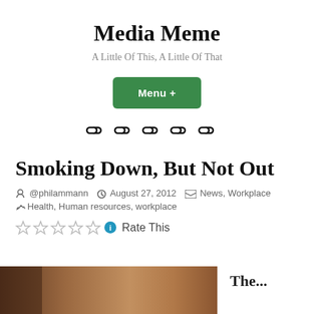Media Meme
A Little Of This, A Little Of That
Menu +
[Figure (other): Five chain-link icons in a row as navigation links]
Smoking Down, But Not Out
@philammann   August 27, 2012   News, Workplace
Health, Human resources, workplace
Rate This
[Figure (photo): Partial bottom image strip showing a brownish photo on the left and partial text 'The...' on the right]